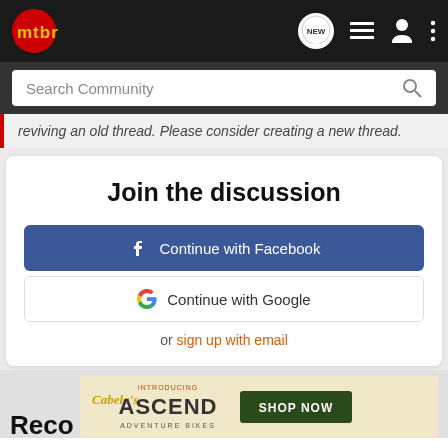mtbr — navigation bar with logo and icons
Search Community
reviving an old thread. Please consider creating a new thread.
Join the discussion
Continue with Facebook
Continue with Google
or sign up with email
Reco
[Figure (screenshot): Cabela's ad banner: INTRODUCING ASCEND ADVENTURE BIKES with SHOP NOW button]